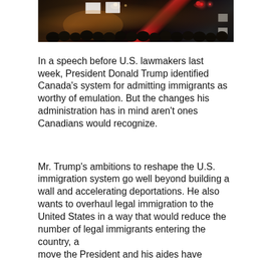[Figure (photo): Nighttime protest scene with people holding signs, red lights visible, dark background with warm orange/amber lighting in crowd]
In a speech before U.S. lawmakers last week, President Donald Trump identified Canada's system for admitting immigrants as worthy of emulation. But the changes his administration has in mind aren't ones Canadians would recognize.
Mr. Trump's ambitions to reshape the U.S. immigration system go well beyond building a wall and accelerating deportations. He also wants to overhaul legal immigration to the United States in a way that would reduce the number of legal immigrants entering the country, a move the President and his aides have